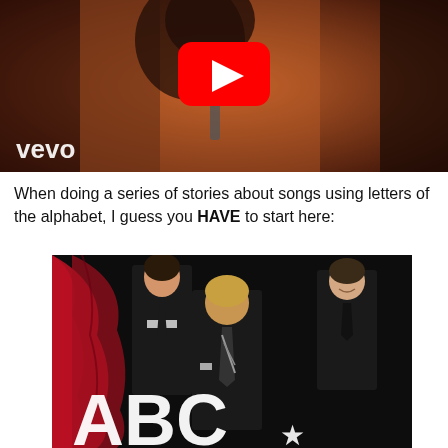[Figure (screenshot): YouTube/Vevo video thumbnail showing a person singing into a microphone with a red YouTube play button overlay and 'vevo' watermark in the bottom-left corner.]
When doing a series of stories about songs using letters of the alphabet, I guess you HAVE to start here:
[Figure (photo): Album cover art showing three men in suits and ties against a dark background with a red curtain on the left, with large letters 'ABC' partially visible at the bottom.]